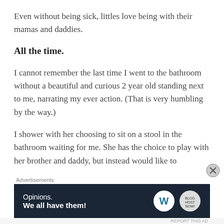Even without being sick, littles love being with their mamas and daddies.
All the time.
I cannot remember the last time I went to the bathroom without a beautiful and curious 2 year old standing next to me, narrating my ever action. (That is very humbling by the way.)
I shower with her choosing to sit on a stool in the bathroom waiting for me. She has the choice to play with her brother and daddy, but instead would like to
[Figure (screenshot): Advertisement banner with dark navy background. Text reads 'Opinions. We all have them!' with WordPress and another logo on the right side. Labeled 'Advertisements' above it.]